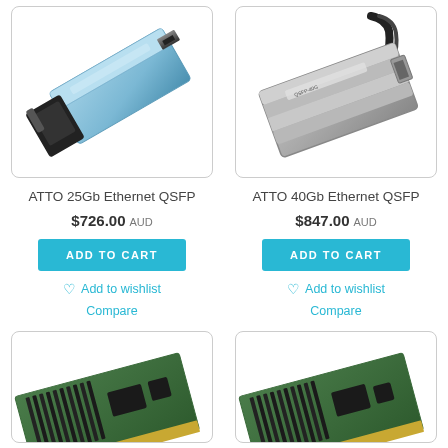[Figure (photo): ATTO 25Gb Ethernet QSFP transceiver module, silver/blue metallic casing]
[Figure (photo): ATTO 40Gb Ethernet QSFP transceiver module, silver metallic casing with cable]
ATTO 25Gb Ethernet QSFP
ATTO 40Gb Ethernet QSFP
$726.00 AUD
$847.00 AUD
ADD TO CART
ADD TO CART
Add to wishlist
Add to wishlist
Compare
Compare
[Figure (photo): Network interface card (NIC) PCIe with heat sink fins, green PCB]
[Figure (photo): Network interface card (NIC) PCIe with heat sink fins, green PCB]